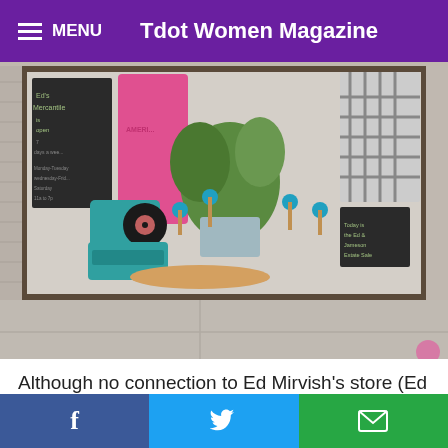MENU   Tdot Women Magazine
[Figure (photo): A shop window display showing a store called Ed's Mercantile with a chalkboard sign, mannequins wearing a pink sweatshirt and a plaid shirt, a turquoise record player, a typewriter, blue candle holders, and plants, viewed from a sidewalk.]
Although no connection to Ed Mirvish’s store (Ed is
f                ✉